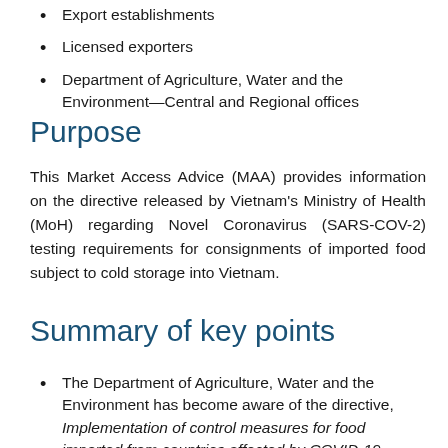Export establishments
Licensed exporters
Department of Agriculture, Water and the Environment—Central and Regional offices
Purpose
This Market Access Advice (MAA) provides information on the directive released by Vietnam's Ministry of Health (MoH) regarding Novel Coronavirus (SARS-COV-2) testing requirements for consignments of imported food subject to cold storage into Vietnam.
Summary of key points
The Department of Agriculture, Water and the Environment has become aware of the directive, Implementation of control measures for food imported from countries affected by COVID-19 epidemic (6487/BYT-